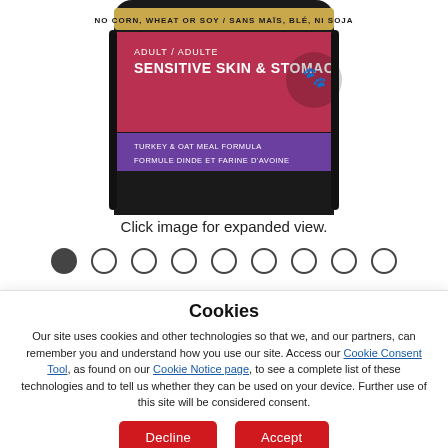[Figure (photo): Product image of a dark bag of dog food labeled 'Adult / Adulte Sensitive Skin & Stomach, Turkey & Oat Meal Formula / Formule Dinde et Farine D'Avoine', with a red and purple label design. Text at top reads 'No Corn, Wheat Or Soy / Sans Mais, Ble, Ni Soja'.]
Click image for expanded view.
Image navigation dots (9 dots, first filled)
NEW
Cookies
Our site uses cookies and other technologies so that we, and our partners, can remember you and understand how you use our site. Access our Cookie Consent Tool, as found on our Cookie Notice page, to see a complete list of these technologies and to tell us whether they can be used on your device. Further use of this site will be considered consent.
Decline
Accept